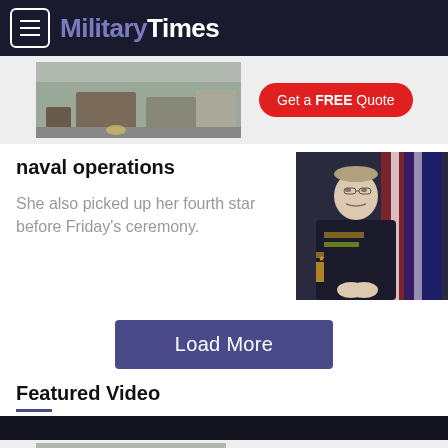Military Times
[Figure (photo): Kitchen advertisement banner with 'Get a FREE Quote' button]
naval operations
She also picked up her fourth star before Friday's ceremony.
[Figure (photo): Military officer in dress uniform with American flags in background]
Load More
Featured Video
[Figure (photo): Video thumbnail - Warrior Games athletes go for the gold]
[Figure (photo): Kitchen advertisement banner with 'Get a FREE Quote' button (bottom)]